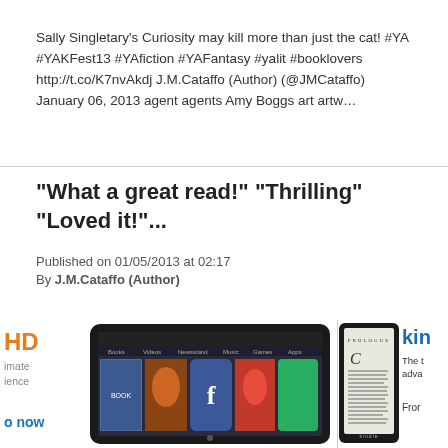Sally Singletary's Curiosity may kill more than just the cat! #YA #YAKFest13 #YAfiction #YAFantasy #yalit #booklovers http://t.co/K7nvAkdj J.M.Cataffo (Author) (@JMCataffo) January 06, 2013 agent agents Amy Boggs art artw...
"What a great read!" "Thrilling" "Loved it!"...
Published on 01/05/2013 at 02:17
By J.M.Cataffo (Author)
[Figure (screenshot): Left: Amazon Kindle Fire HD advertisement showing the device with app icons and book covers on screen, with orange HD text and blue 'now' link. Right: Amazon Kindle Paperwhite advertisement showing the e-reader device with text on screen, with blue 'kin' branding text.]